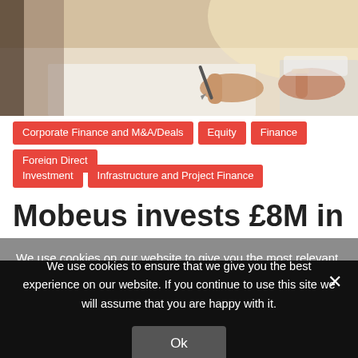[Figure (photo): Close-up photo of a person's hand holding a pen and signing or writing on a document/paper on a desk, with another hand visible resting on paper. Business/professional setting with warm lighting.]
Corporate Finance and M&A/Deals
Equity
Finance
Foreign Direct Investment
Infrastructure and Project Finance
Mobeus invests £8M in
We use cookies on our website to give you the most relevant experience by remembering your preferences and repeat
We use cookies to ensure that we give you the best experience on our website. If you continue to use this site we will assume that you are happy with it.